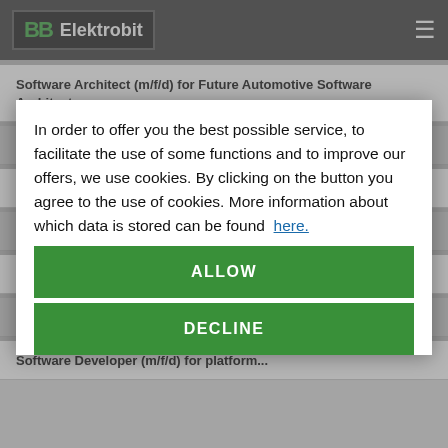Elektrobit
Software Architect (m/f/d) for Future Automotive Software Architectures
Software Architect C++/Embedded Linux
Software Architect/Expert (m/f/d) Classic AUTOSAR
Software Architects
Software Developer (m/f/d): Android Applications
Software Developer (m/f/d) C++/QNX
In order to offer you the best possible service, to facilitate the use of some functions and to improve our offers, we use cookies. By clicking on the button you agree to the use of cookies. More information about which data is stored can be found here.
ALLOW
DECLINE